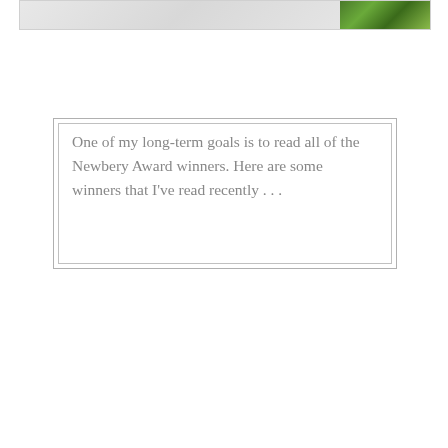[Figure (photo): Partial view of images at top of page — left portion shows a light/white illustrated image, right portion shows a green nature/foliage illustration]
One of my long-term goals is to read all of the Newbery Award winners. Here are some winners that I've read recently . . .